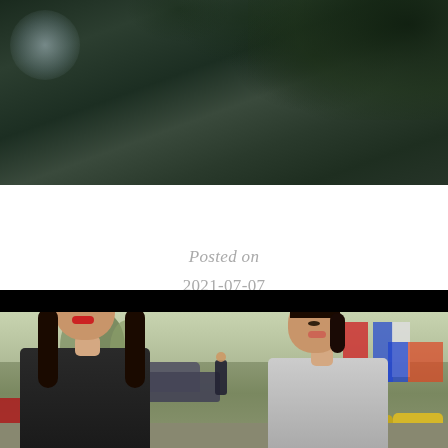[Figure (photo): Dark outdoor scene with blurred foliage and trees in the background, dark tones with bokeh effect]
Posted on
2021-07-07
21:18:10
[Figure (photo): Two young women standing on an outdoor street market scene. The woman on the left has long straight hair and is wearing large round sunglasses and red lipstick. The woman on the right has dark hair pulled back and appears to be talking. In the background there are parked motorcycles, trees, and a colorful market stall with fabrics.]